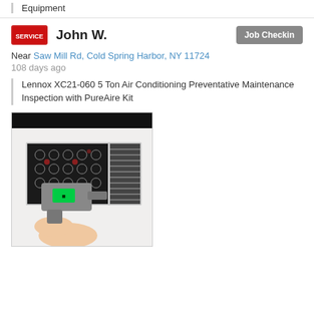Equipment
John W.
Job Checkin
Near Saw Mill Rd, Cold Spring Harbor, NY 11724
108 days ago
Lennox XC21-060 5 Ton Air Conditioning Preventative Maintenance Inspection with PureAire Kit
[Figure (photo): A hand holding a grey infrared thermometer gun pointed at a decorative metal HVAC vent/grille on a white wall. The thermometer has a green LED display screen.]